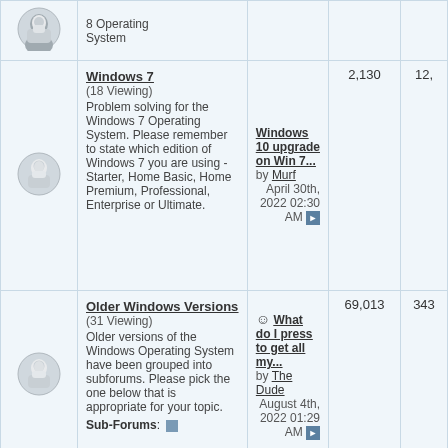| Icon | Forum | Last Post | Threads | Posts |
| --- | --- | --- | --- | --- |
| [avatar] | 8 Operating System |  |  |  |
| [avatar] | Windows 7 (18 Viewing) Problem solving for the Windows 7 Operating System... | Windows 10 upgrade on Win 7... by Murf April 30th, 2022 02:30 AM | 2,130 | 12, |
| [avatar] | Older Windows Versions (31 Viewing) Older versions of the Windows Operating System have been grouped into subforums... | What do I press to get all my... by The Dude August 4th, 2022 01:29 AM | 69,013 | 343 |